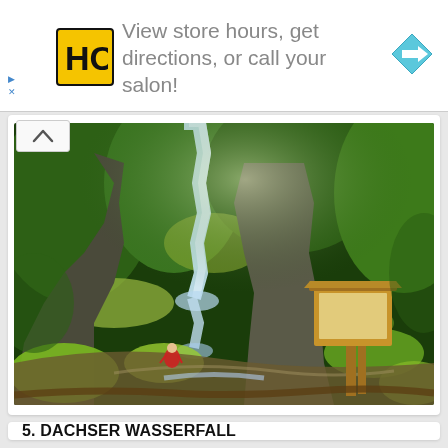[Figure (photo): Advertisement banner: HC salon logo (yellow square with black HC letters), text 'View store hours, get directions, or call your salon!', blue diamond navigation arrow icon on the right. Small play and X controls on the left edge.]
[Figure (photo): Photograph of Dachser Wasserfall (waterfall) in a lush green forest setting. Water cascades down rocky cliffs surrounded by dense green vegetation. A wooden information board/sign stands on the right side. A person in red clothing is visible near the base of the waterfall.]
5. DACHSER WASSERFALL